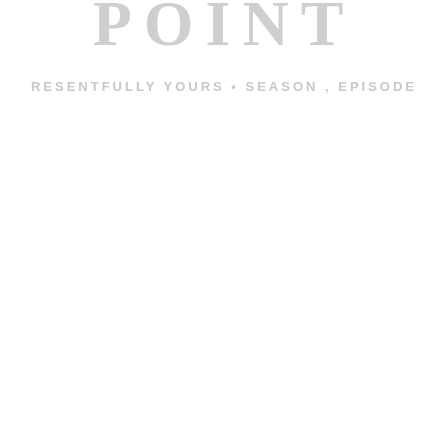POINT
RESENTFULLY YOURS · SEASON , EPISODE